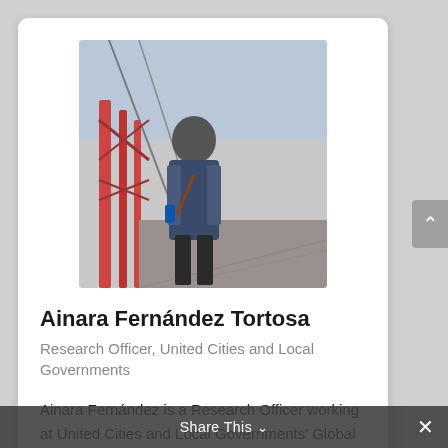[Figure (photo): A person standing on a bridge walkway with red metal truss structure, wearing a denim jacket and carrying a bag, smiling at the camera]
Ainara Fernández Tortosa
Research Officer, United Cities and Local Governments
Ainara Fernández is a Research Officer working at United Cities and Local Governments' Global Observatory. She is a focal point for